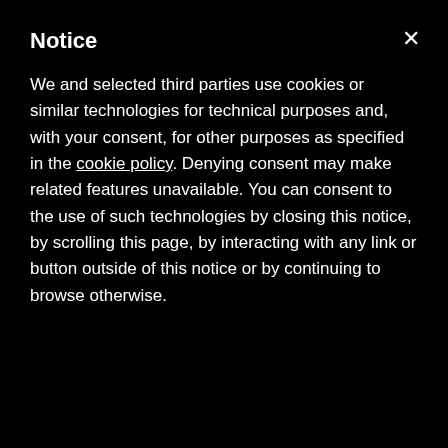Notice
We and selected third parties use cookies or similar technologies for technical purposes and, with your consent, for other purposes as specified in the cookie policy. Denying consent may make related features unavailable. You can consent to the use of such technologies by closing this notice, by scrolling this page, by interacting with any link or button outside of this notice or by continuing to browse otherwise.
[Figure (screenshot): Twitter feed showing green image bar, heart icon with count 1, and a tweet from New York Re... @NewYorkR... 4m: SUB I Tom Barlow enters the match, replacing Patryk Klimala. #RBNYvCIN #RBNY]
[Figure (logo): reCAPTCHA logo with Privacy - Terms text]